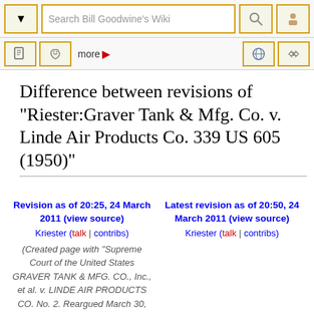[Figure (screenshot): Wiki toolbar top with search box 'Search Bill Goodwine's Wiki' and navigation icons]
Difference between revisions of "Riester:Graver Tank & Mfg. Co. v. Linde Air Products Co. 339 US 605 (1950)"
| Left revision | Right revision |
| --- | --- |
| Revision as of 20:25, 24 March 2011 (view source) | Latest revision as of 20:50, 24 March 2011 (view source) |
| Kriester (talk | contribs) | Kriester (talk | contribs) |
| (Created page with "Supreme Court of the United States GRAVER TANK & MFG. CO., Inc., et al. v. LINDE AIR PRODUCTS CO. No. 2. Reargued March 30, 1950. Decided May 29, 1950. Motion to Issue Mandate ...") |  |